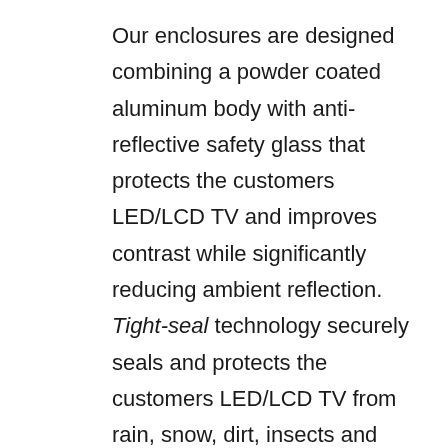Our enclosures are designed combining a powder coated aluminum body with anti-reflective safety glass that protects the customers LED/LCD TV and improves contrast while significantly reducing ambient reflection. Tight-seal technology securely seals and protects the customers LED/LCD TV from rain, snow, dirt, insects and other outdoor elements. The down-firing sound ports, sported at the base of the enclosure, effectively maximize the audio capabilities of the TV. The 9' outdoor rated power cord provides the necessary safety for power in the outdoor environment and the included 3' high-speed HDMI cable and coupler provide a convenient patch cable to for easy connection when attaching to the mount, where cables are ready to connect. The water-tight cable cover secures the proper seal against all cables.